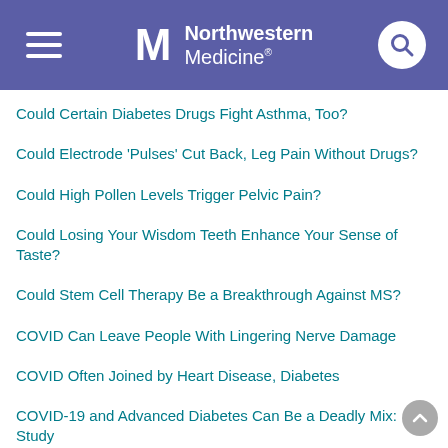Northwestern Medicine
Could Certain Diabetes Drugs Fight Asthma, Too?
Could Electrode 'Pulses' Cut Back, Leg Pain Without Drugs?
Could High Pollen Levels Trigger Pelvic Pain?
Could Losing Your Wisdom Teeth Enhance Your Sense of Taste?
Could Stem Cell Therapy Be a Breakthrough Against MS?
COVID Can Leave People With Lingering Nerve Damage
COVID Often Joined by Heart Disease, Diabetes
COVID-19 and Advanced Diabetes Can Be a Deadly Mix: Study